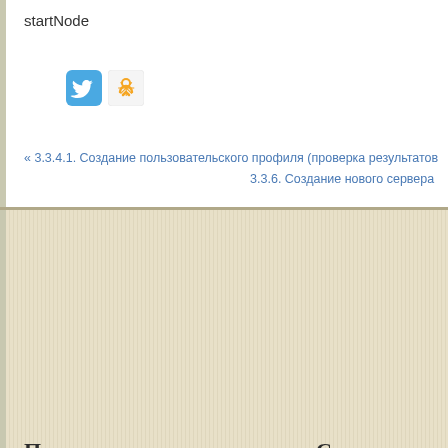startNode
[Figure (illustration): Twitter and Odnoklassniki social media icons]
« 3.3.4.1. Создание пользовательского профиля (проверка результатов
3.3.6. Создание нового сервера
Последние записи
Свежие ком
8.4.8. Наилучшие подходы к работе с MDB-компонентами
Комментариев н
8.4.7. Связывание компонента, управляемого сообщением, с пунктом назначения
8.4.6. Конфигурационные свойства активации MDB-компонентов
8.4.5. Компоненты, управляемые сообщениями, и транзакции
8.4.4. Жизненный цикл компонента, управляемого сообщениями
8.4.3. Реализация компонента, управляемого сообщениями
8.4.2. Взгляд на компонент, управляемый